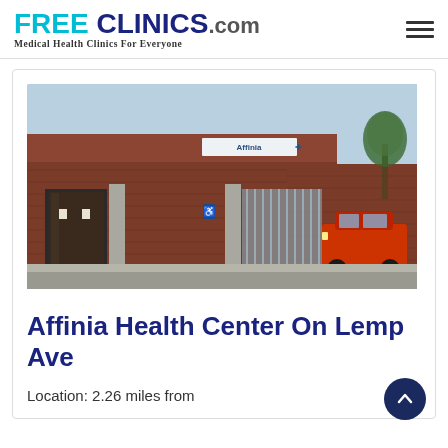FREE CLINICS.COM Medical Health Clinics For Everyone
[Figure (photo): Exterior photo of a brick building with glass entrance doors and a sign reading 'Affinia', with a red car parked in the lot]
Affinia Health Center On Lemp Ave
Location: 2.26 miles from